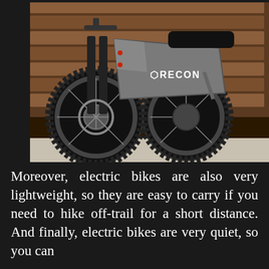[Figure (photo): Photo of a RECON electric bike (e-bike/electric moped) parked in front of a wooden slatted wall. The bike is dark grey/black with large off-road tires, front suspension forks, disc brakes, and a distinctive angular frame body with the RECON logo. It is parked on a sidewalk/curb with dark mulch ground cover visible.]
Moreover, electric bikes are also very lightweight, so they are easy to carry if you need to hike off-trail for a short distance. And finally, electric bikes are very quiet, so you can